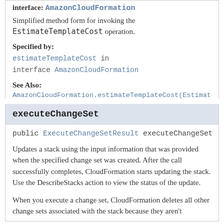interface: AmazonCloudFormation
Simplified method form for invoking the EstimateTemplateCost operation.
Specified by:
estimateTemplateCost in interface AmazonCloudFormation
See Also:
AmazonCloudFormation.estimateTemplateCost(Estimat...
executeChangeSet
public ExecuteChangeSetResult executeChangeSet(Ex...
Updates a stack using the input information that was provided when the specified change set was created. After the call successfully completes, CloudFormation starts updating the stack. Use the DescribeStacks action to view the status of the update.
When you execute a change set, CloudFormation deletes all other change sets associated with the stack because they aren't